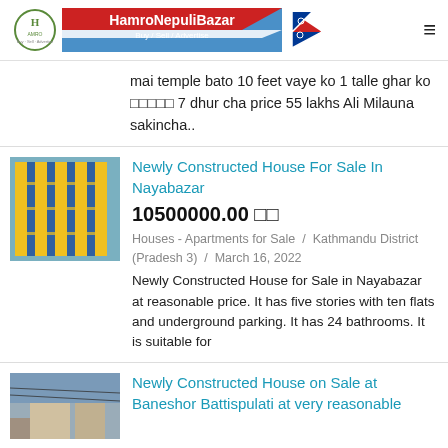HamroNepuliBazar - Buy / Sell / Advertise
mai temple bato 10 feet vaye ko 1 talle ghar ko □□□□□ 7 dhur cha price 55 lakhs Ali Milauna sakincha..
Newly Constructed House For Sale In Nayabazar
10500000.00 □□
Houses - Apartments for Sale / Kathmandu District (Pradesh 3) / March 16, 2022
Newly Constructed House for Sale in Nayabazar at reasonable price. It has five stories with ten flats and underground parking. It has 24 bathrooms. It is suitable for
Newly Constructed House on Sale at Baneshor Battispulati at very reasonable